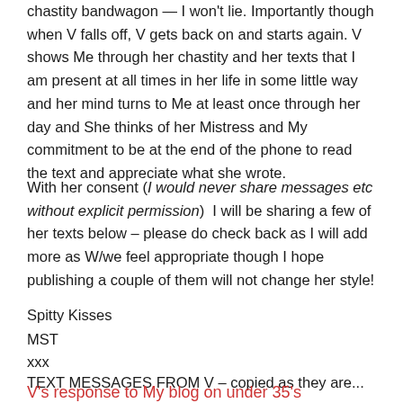chastity bandwagon — I won't lie. Importantly though when V falls off, V gets back on and starts again. V shows Me through her chastity and her texts that I am present at all times in her life in some little way and her mind turns to Me at least once through her day and She thinks of her Mistress and My commitment to be at the end of the phone to read the text and appreciate what she wrote.
With her consent (I would never share messages etc without explicit permission)  I will be sharing a few of her texts below – please do check back as I will add more as W/we feel appropriate though I hope publishing a couple of them will not change her style!
Spitty Kisses
MST
xxx
TEXT MESSAGES FROM V – copied as they are...
V's response to My blog on under 35's
Dear Mistress Scarlette...